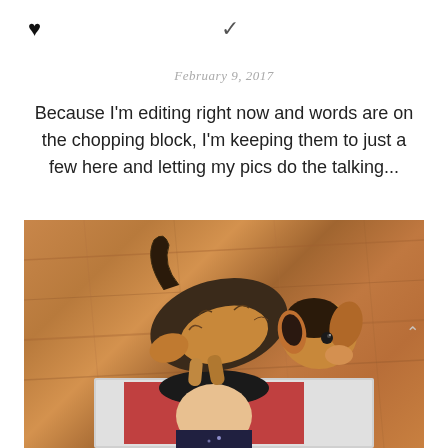♥  ✓
February 9, 2017
Because I'm editing right now and words are on the chopping block, I'm keeping them to just a few here and letting my pics do the talking...
[Figure (photo): A small Yorkshire Terrier dog sitting on top of a magazine/book on a wooden floor, looking at the camera. The bottom of the image shows a magazine cover with a person's face visible.]